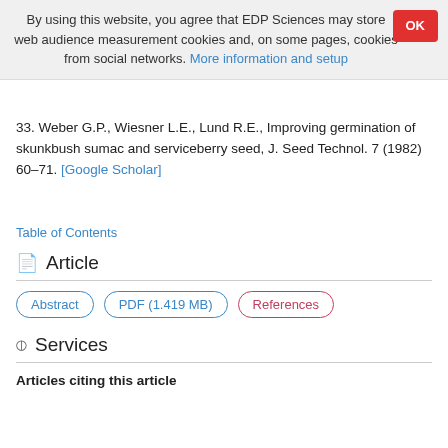By using this website, you agree that EDP Sciences may store web audience measurement cookies and, on some pages, cookies from social networks. More information and setup
33. Weber G.P., Wiesner L.E., Lund R.E., Improving germination of skunkbush sumac and serviceberry seed, J. Seed Technol. 7 (1982) 60–71. [Google Scholar]
Table of Contents
Article
Abstract  PDF (1.419 MB)  References
Services
Articles citing this article